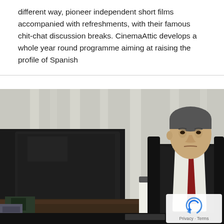different way, pioneer independent short films accompanied with refreshments, with their famous chit-chat discussion breaks. CinemaAttic develops a whole year round programme aiming at raising the profile of Spanish
[Figure (photo): A middle-aged man in a dark suit with a red tie sits at a desk in an office, with a large computer monitor in front of him and a spiral desk calendar with a black inkblot logo visible. Background shows white curtains. A reCAPTCHA privacy badge is visible in the bottom right corner.]